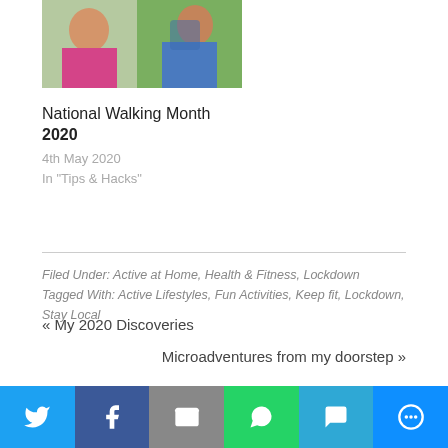[Figure (photo): Partial photo of two people hiking outdoors, one in pink vest and one in blue jacket with backpack]
National Walking Month 2020
4th May 2020
In "Tips & Hacks"
Filed Under: Active at Home, Health & Fitness, Lockdown
Tagged With: Active Lifestyles, Fun Activities, Keep fit, Lockdown, Stay Local
« My 2020 Discoveries
Microadventures from my doorstep »
ALSO ON THEURBANWANDERER
[Figure (photo): Two thumbnail images for related posts]
Twitter | Facebook | Email | WhatsApp | SMS | More share options